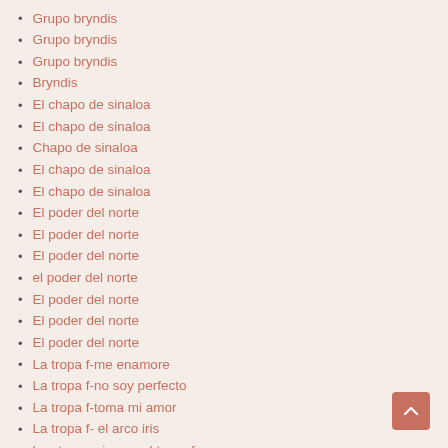Grupo bryndis
Grupo bryndis
Grupo bryndis
Bryndis
El chapo de sinaloa
El chapo de sinaloa
Chapo de sinaloa
El chapo de sinaloa
El chapo de sinaloa
El poder del norte
El poder del norte
El poder del norte
el poder del norte
El poder del norte
El poder del norte
El poder del norte
La tropa f-me enamore
La tropa f-no soy perfecto
La tropa f-toma mi amor
La tropa f- el arco iris
Los texmaniacs and tropa f